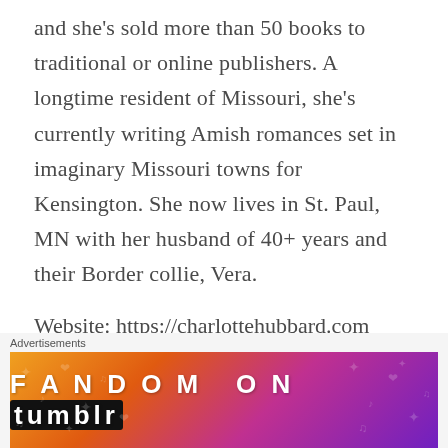and she's sold more than 50 books to traditional or online publishers. A longtime resident of Missouri, she's currently writing Amish romances set in imaginary Missouri towns for Kensington. She now lives in St. Paul, MN with her husband of 40+ years and their Border collie, Vera.
Website: https://charlottehubbard.com
Facebook:
[Figure (other): Advertisement banner for Fandom on Tumblr with colorful gradient background from orange to purple with decorative music and star icons.]